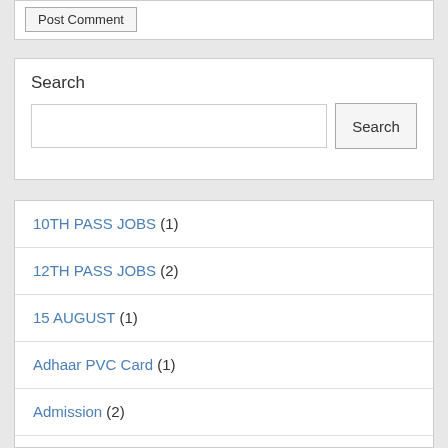Post Comment
Search
10TH PASS JOBS (1)
12TH PASS JOBS (2)
15 AUGUST (1)
Adhaar PVC Card (1)
Admission (2)
Admit Card (1)
Answer Key (4)
Application (1)
Apply Online (193)
Appretice (1)